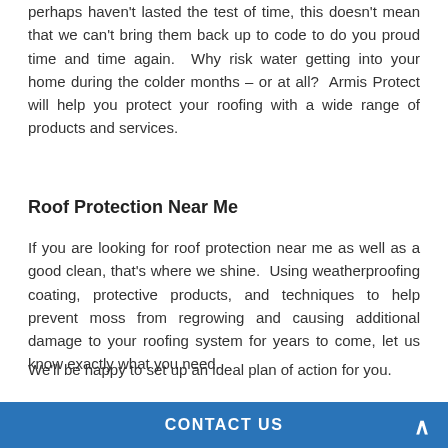perhaps haven't lasted the test of time, this doesn't mean that we can't bring them back up to code to do you proud time and time again.  Why risk water getting into your home during the colder months – or at all?  Armis Protect will help you protect your roofing with a wide range of products and services.
Roof Protection Near Me
If you are looking for roof protection near me as well as a good clean, that's where we shine.  Using weatherproofing coating, protective products, and techniques to help prevent moss from regrowing and causing additional damage to your roofing system for years to come, let us know exactly what you need.
We'll be happy to set up an ideal plan of action for you.
A good clean is all well and good, but we understand only too well that families need a little bit more in the way of
CONTACT US